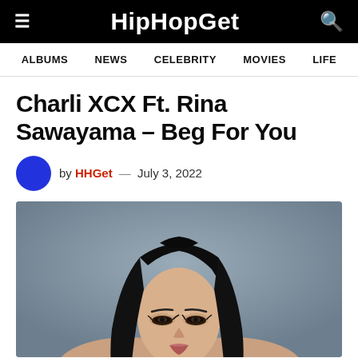HipHopGet
ALBUMS  NEWS  CELEBRITY  MOVIES  LIFE
Charli XCX Ft. Rina Sawayama – Beg For You
by HHGet — July 3, 2022
[Figure (photo): Portrait photo of a young woman with long straight black hair, wearing dramatic eye makeup, photographed against a grey background. Face partially visible, cropped below chin area.]